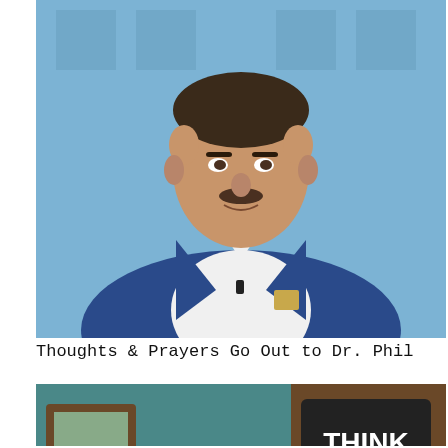[Figure (photo): A middle-aged man with a mustache wearing a blue blazer over a white shirt with a microphone clip, seated against a blue background with geometric patterns]
Thoughts & Prayers Go Out to Dr. Phil
[Figure (photo): A Black man with glasses, gray-streaked hair and a mustache, wearing a white shirt, with a bookshelf sign reading THINK BIG in the background]